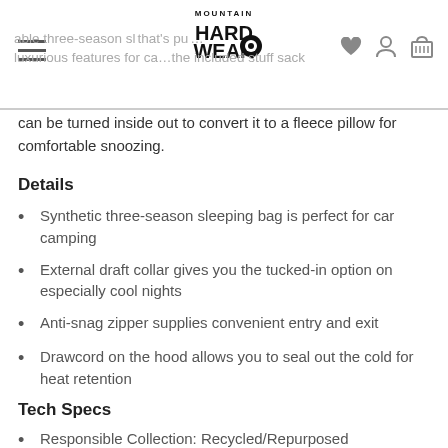Mountain Hard Wear — navigation header with logo, menu icon, and cart/user/wishlist icons
able three-season sl... that's pu... luxurious features for ca... the included stuff sack can be turned inside out to convert it to a fleece pillow for comfortable snoozing.
Details
Synthetic three-season sleeping bag is perfect for car camping
External draft collar gives you the tucked-in option on especially cool nights
Anti-snag zipper supplies convenient entry and exit
Drawcord on the hood allows you to seal out the cold for heat retention
Tech Specs
Responsible Collection: Recycled/Repurposed